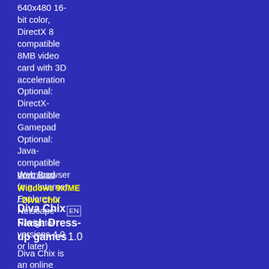640x480 16-bit color, DirectX 8 compatible 8MB video card with 3D acceleration Optional: DirectX-compatible Gamepad Optional: Java-compatible Web Browser (e.g. Internet Explorer or Netscape Navigator versions 4.0 or later)
download
Windows 9x/ME / Diva Chix
Diva Chix Flash Dress-up games 1.0
Diva Chix is an online fashion community